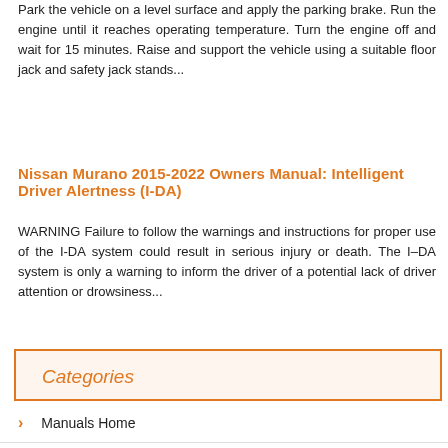Park the vehicle on a level surface and apply the parking brake. Run the engine until it reaches operating temperature. Turn the engine off and wait for 15 minutes. Raise and support the vehicle using a suitable floor jack and safety jack stands...
Nissan Murano 2015-2022 Owners Manual: Intelligent Driver Alertness (I-DA)
WARNING Failure to follow the warnings and instructions for proper use of the I-DA system could result in serious injury or death. The I–DA system is only a warning to inform the driver of a potential lack of driver attention or drowsiness...
Categories
Manuals Home
Nissan Murano Owners Manual
Nissan Murano Service Manual
Motion-Activated Liftgate (if so equipped)